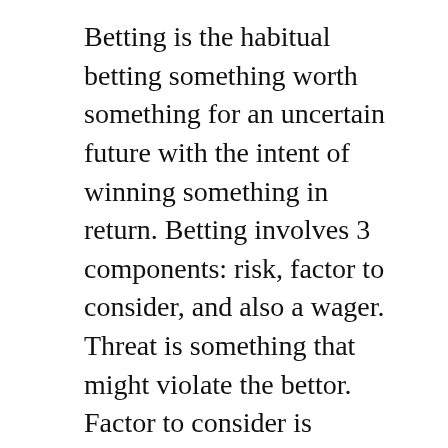Betting is the habitual betting something worth something for an uncertain future with the intent of winning something in return. Betting involves 3 components: risk, factor to consider, and also a wager. Threat is something that might violate the bettor. Factor to consider is something that the gamer has to weigh and consider prior to making a wager.
Trouble gaming is an issue when the bettor considers too many outcomes in one video game. The issue takes place when the casino player has made a lot of bets in such a number of video games, that his mind quits working in a typical method and all his activities appear arbitrary. The result is that the bettor can not